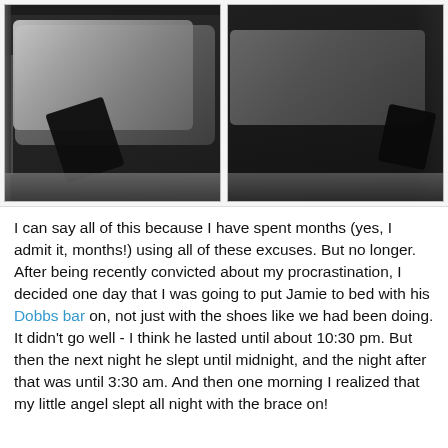[Figure (photo): Two side-by-side night-vision baby monitor images showing a baby in a crib. Left image shows a baby lying under white blankets with a dark object near the lower center. Right image shows the baby repositioned with a dark object visible near the lower right corner. Both images are in black and white/grayscale night-vision.]
I can say all of this because I have spent months (yes, I admit it, months!) using all of these excuses. But no longer. After being recently convicted about my procrastination, I decided one day that I was going to put Jamie to bed with his Dobbs bar on, not just with the shoes like we had been doing. It didn't go well - I think he lasted until about 10:30 pm. But then the next night he slept until midnight, and the night after that was until 3:30 am. And then one morning I realized that my little angel slept all night with the brace on!